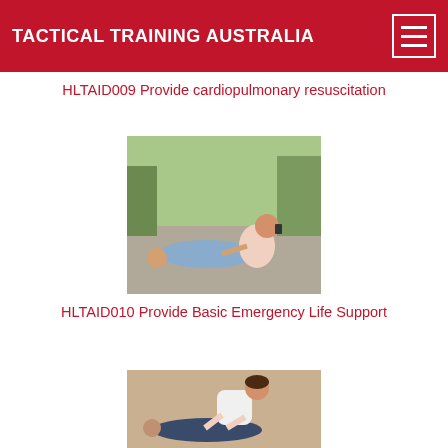TACTICAL TRAINING AUSTRALIA
HLTAID009 Provide cardiopulmonary resuscitation
[Figure (photo): A woman kneeling on the ground outdoors, talking on a phone, with her hand on an unconscious man lying on pavement. Trees and cars visible in background.]
HLTAID010 Provide Basic Emergency Life Support
[Figure (photo): A person bending over to perform emergency life support on another person on the ground.]